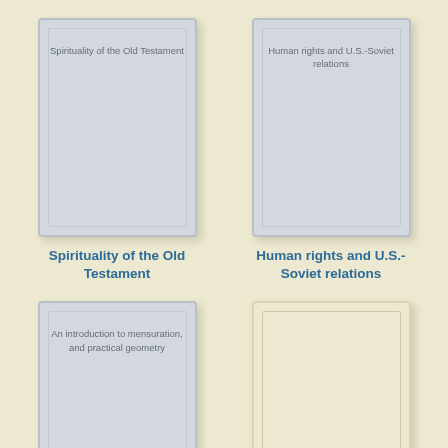[Figure (illustration): Book cover card for 'Spirituality of the Old Testament', grey card with inner border]
Spirituality of the Old Testament
[Figure (illustration): Book cover card for 'Human rights and U.S.-Soviet relations', grey card with inner border]
Human rights and U.S.-Soviet relations
[Figure (illustration): Book cover card for 'An introduction to mensuration, and practical geometry', grey card with inner border]
[Figure (illustration): Empty cream/beige book cover card with inner border]